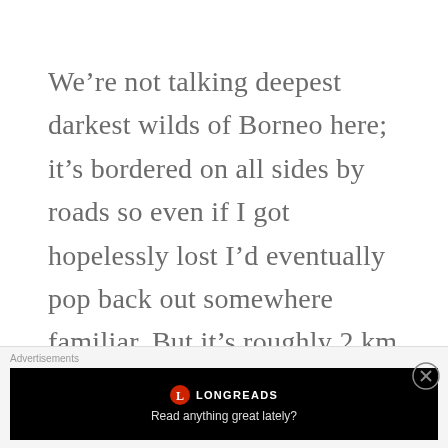We’re not talking deepest darkest wilds of Borneo here; it’s bordered on all sides by roads so even if I got hopelessly lost I’d eventually pop back out somewhere familiar. But it’s roughly 2 km long , about a kilometre across at its widest, features quite steep and treacherous terrain covered
Advertisements
[Figure (other): Longreads advertisement banner with logo and text 'Read anything great lately?' on black background]